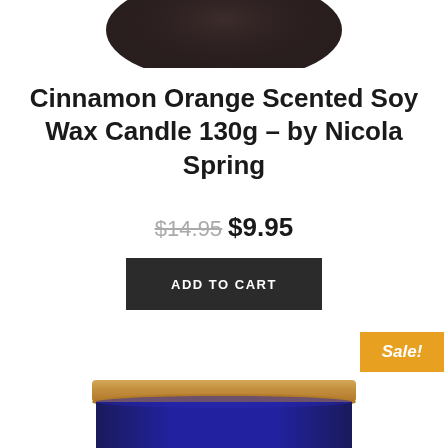[Figure (photo): Top portion of a dark-lidded candle jar, cropped at the top of the page]
Cinnamon Orange Scented Soy Wax Candle 130g – by Nicola Spring
$14.95  $9.95
ADD TO CART
Sale!
[Figure (photo): Bottom portion of a cobalt blue candle jar with a wooden/bamboo lid, cropped at the bottom of the page]